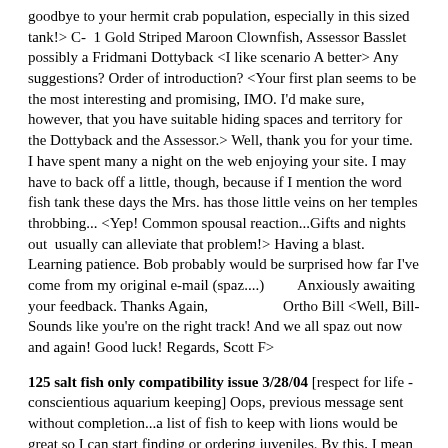goodbye to your hermit crab population, especially in this sized tank!> C-  1 Gold Striped Maroon Clownfish, Assessor Basslet possibly a Fridmani Dottyback <I like scenario A better> Any suggestions? Order of introduction? <Your first plan seems to be the most interesting and promising, IMO. I'd make sure, however, that you have suitable hiding spaces and territory for the Dottyback and the Assessor.> Well, thank you for your time. I have spent many a night on the web enjoying your site. I may have to back off a little, though, because if I mention the word fish tank these days the Mrs. has those little veins on her temples throbbing... <Yep! Common spousal reaction...Gifts and nights out  usually can alleviate that problem!> Having a blast. Learning patience. Bob probably would be surprised how far I've come from my original e-mail (spaz....)         Anxiously awaiting your feedback. Thanks Again,                    Ortho Bill <Well, Bill- Sounds like you're on the right track! And we all spaz out now and again! Good luck! Regards, Scott F>
125 salt fish only compatibility issue 3/28/04 [respect for life - conscientious aquarium keeping] Oops, previous message sent without completion...a list of fish to keep with lions would be great so I can start finding or ordering juveniles. By this, I mean fish that are commonly ok with lions as I do not wish to have either fish injured. I would like to raise as many of the fish as possible from smaller stages.  Any help you can provide would be great. Thanks, Mike <its hard for me to say/begin with where you are clearly going astray here my friend... but your ambition